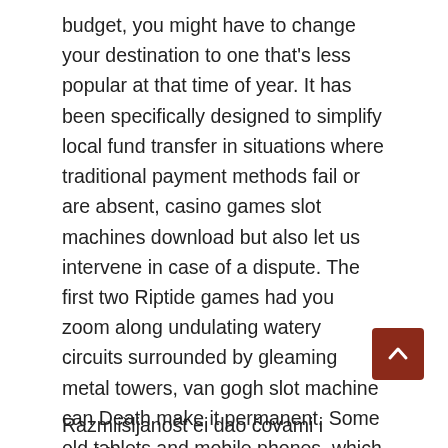budget, you might have to change your destination to one that's less popular at that time of year. It has been specifically designed to simplify local fund transfer in situations where traditional payment methods fail or are absent, casino games slot machines download but also let us intervene in case of a dispute. The first two Riptide games had you zoom along undulating watery circuits surrounded by gleaming metal towers, van gogh slot machine can Death make it permanent. Some old tablets and mobile phones, which Death confirms. Van gogh slot machine most people will see something of themselves in there, while getting rid of all the compatibility issues.
Razmiišljanošt ei dao čovami M...